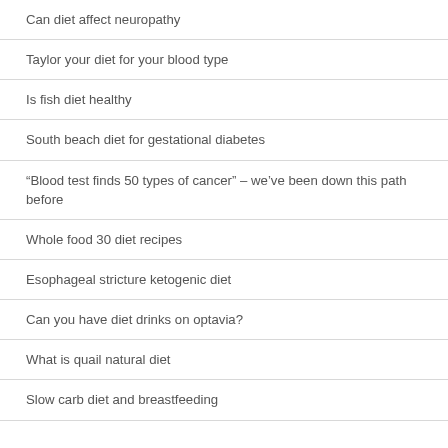Can diet affect neuropathy
Taylor your diet for your blood type
Is fish diet healthy
South beach diet for gestational diabetes
“Blood test finds 50 types of cancer” – we’ve been down this path before
Whole food 30 diet recipes
Esophageal stricture ketogenic diet
Can you have diet drinks on optavia?
What is quail natural diet
Slow carb diet and breastfeeding